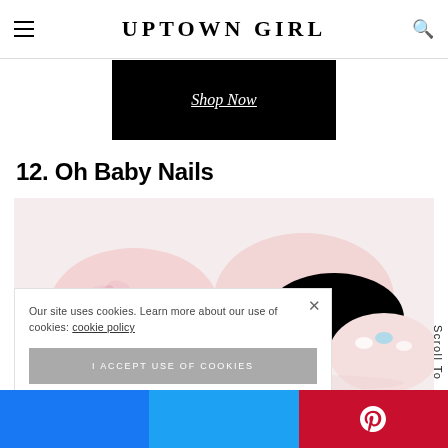UPTOWN GIRL
[Figure (screenshot): Black banner with 'Shop Now' underlined text in white italic font]
12. Oh Baby Nails
[Figure (photo): Close-up photo of baby pink shoes and feet with painted nails on white background]
Our site uses cookies. Learn more about our use of cookies: cookie policy
I ACCEPT USE OF COOKIES
Scroll To